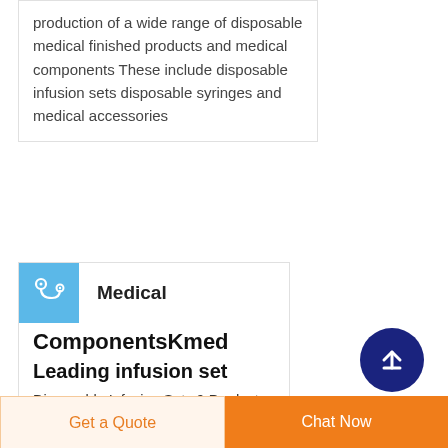production of a wide range of disposable medical finished products and medical components These include disposable infusion sets disposable syringes and medical accessories
Medical
ComponentsKmed
Leading infusion set
Disposable Infusion Sets 9 Products Medical Components 28 Products Hypodermic Needle 2 Products Disposable
Get a Quote   Chat Now